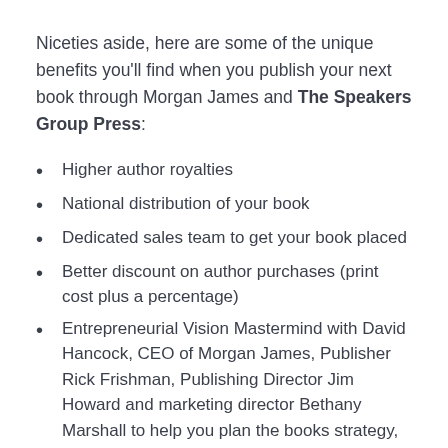Niceties aside, here are some of the unique benefits you'll find when you publish your next book through Morgan James and The Speakers Group Press:
Higher author royalties
National distribution of your book
Dedicated sales team to get your book placed
Better discount on author purchases (print cost plus a percentage)
Entrepreneurial Vision Mastermind with David Hancock, CEO of Morgan James, Publisher Rick Frishman, Publishing Director Jim Howard and marketing director Bethany Marshall to help you plan the books strategy, including 40 hours of virtual assistant time to help you get started
Access to top thought leaders in public